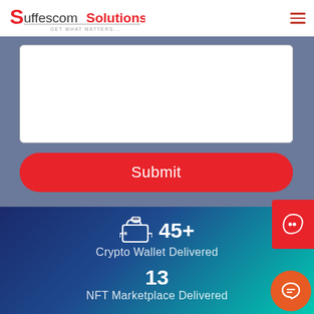[Figure (logo): Suffescom Solutions logo with red S and tagline GET WHAT MATTERS]
[Figure (screenshot): White text input / textarea form field with border]
[Figure (other): Red rounded Submit button]
[Figure (infographic): Blue-teal gradient stats section showing crypto wallet icon with 45+ count and Crypto Wallet Delivered text, then 13 and NFT Marketplace Delivered]
45+
Crypto Wallet Delivered
13
NFT Marketplace Delivered